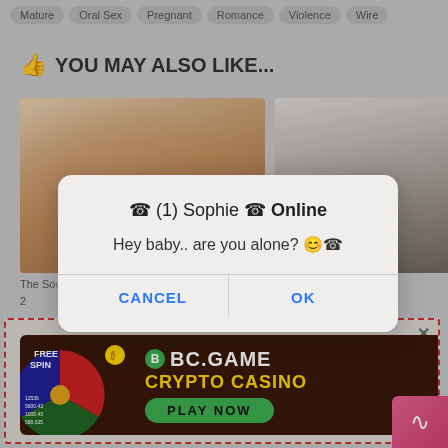Mature  Oral Sex  Pregnant  Romance  Violence  Wire
👍 YOU MAY ALSO LIKE...
[Figure (screenshot): Two video thumbnail images side by side]
The So...  2
Camryn: C06
[Figure (screenshot): BC.GAME Crypto Casino ad banner with FREE SPIN wheel, BC.GAME logo, CRYPTO CASINO text, and PLAY NOW button, inside a red dashed border box]
[Figure (screenshot): Dialog box popup: (1) Sophie is Online. Hey baby.. are you alone? 😊 with CANCEL and OK buttons]